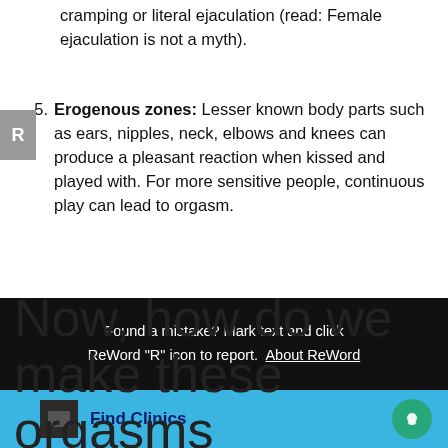cramping or literal ejaculation (read: Female ejaculation is not a myth).
5. Erogenous zones: Lesser known body parts such as ears, nipples, neck, elbows and knees can produce a pleasant reaction when kissed and played with. For more sensitive people, continuous play can lead to orgasm.
Now, how do we make these orgasms
Found a mistake? Mark text and click ReWord "R" icon to report. About ReWord
Find Clinics